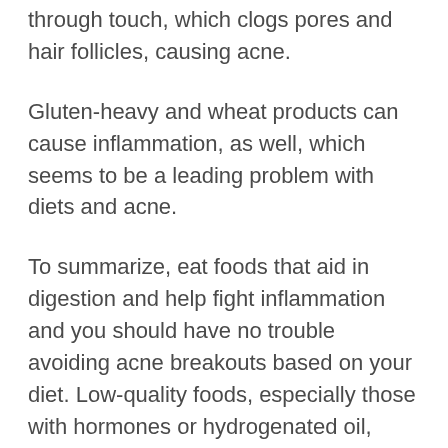They'll also expose your skin to the grease through touch, which clogs pores and hair follicles, causing acne.
Gluten-heavy and wheat products can cause inflammation, as well, which seems to be a leading problem with diets and acne.
To summarize, eat foods that aid in digestion and help fight inflammation and you should have no trouble avoiding acne breakouts based on your diet. Low-quality foods, especially those with hormones or hydrogenated oil, tend to contribute the most to acne problems.